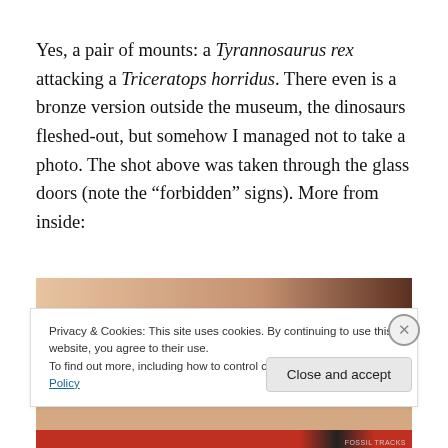Yes, a pair of mounts: a Tyrannosaurus rex attacking a Triceratops horridus. There even is a bronze version outside the museum, the dinosaurs fleshed-out, but somehow I managed not to take a photo. The shot above was taken through the glass doors (note the “forbidden” signs). More from inside:
[Figure (photo): Top portion of a museum photo showing warm brown/tan tones, partially obscured by a cookie consent banner overlay.]
Privacy & Cookies: This site uses cookies. By continuing to use this website, you agree to their use.
To find out more, including how to control cookies, see here: Cookie Policy
Close and accept